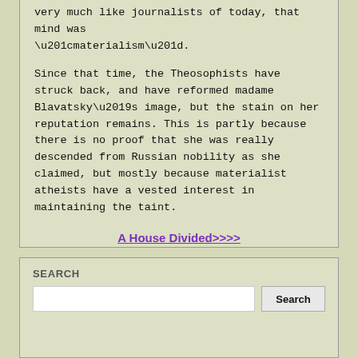very much like journalists of today, that mind was “materialism”.
Since that time, the Theosophists have struck back, and have reformed madame Blavatsky’s image, but the stain on her reputation remains. This is partly because there is no proof that she was really descended from Russian nobility as she claimed, but mostly because materialist atheists have a vested interest in maintaining the taint.
A House Divided>>>>
<<<<Theosophy and Reincarnation
SEARCH